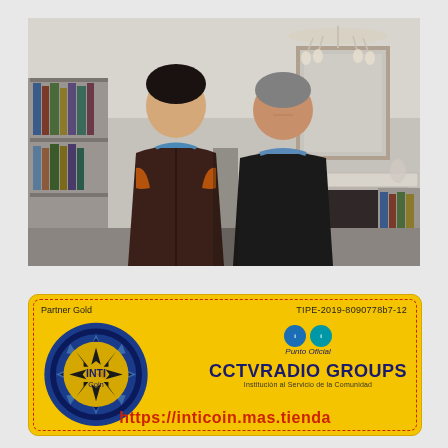[Figure (photo): Two men standing together indoors. A younger man on the left wearing a brown zip-up jacket, and an older man on the right wearing a dark jacket. Background shows a living room with bookshelves, a mirror, a chandelier, and a fireplace mantle.]
[Figure (infographic): A yellow membership/partner card for CCTVRADIO GROUPS featuring the INTI Coin logo on the left. Card shows 'Partner Gold', code 'TIPE-2019-8090778b7-12', 'Punto Oficial', 'CCTVRADIO GROUPS', 'Institución al Servicio de la Comunidad', and URL 'https://inticoin.mas.tienda' in red at the bottom.]